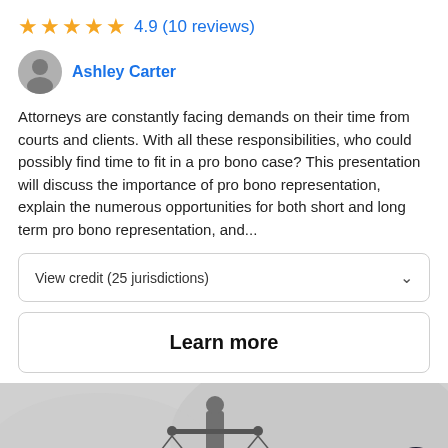★★★★★ 4.9 (10 reviews)
Ashley Carter
Attorneys are constantly facing demands on their time from courts and clients. With all these responsibilities, who could possibly find time to fit in a pro bono case? This presentation will discuss the importance of pro bono representation, explain the numerous opportunities for both short and long term pro bono representation, and...
View credit (25 jurisdictions)
Learn more
[Figure (illustration): Lady Justice icon (scales of justice silhouette) on grey background, with chat support button in bottom right corner]